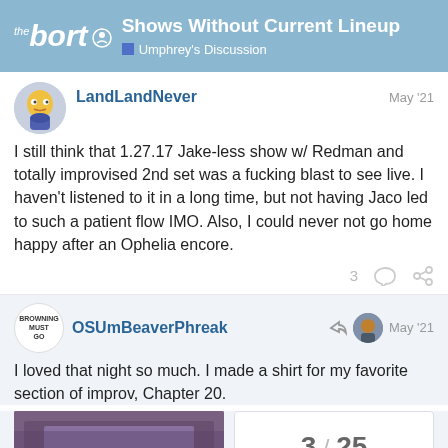Shows Without Current Lineup — Umphrey's Discussion — the bort
LandLandNever    May '21
I still think that 1.27.17 Jake-less show w/ Redman and totally improvised 2nd set was a fucking blast to see live. I haven't listened to it in a long time, but not having Jaco led to such a patient flow IMO. Also, I could never not go home happy after an Ophelia encore.
OSUmBeaverPhreak    May '21
I loved that night so much. I made a shirt for my favorite section of improv, Chapter 20.
[Figure (photo): Photo of a purple shirt]
3 / 25